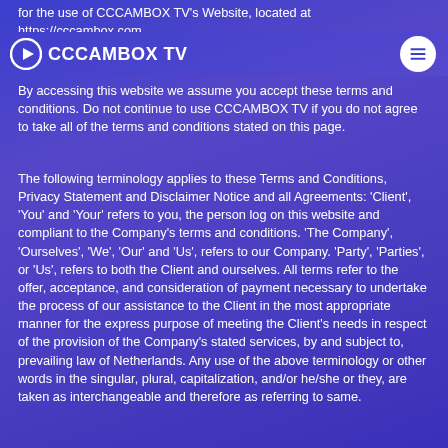CCCAMBOX TV
for the use of CCCAMBOX TV's Website, located at https://cccambox.com.
By accessing this website we assume you accept these terms and conditions. Do not continue to use CCCAMBOX TV if you do not agree to take all of the terms and conditions stated on this page.
The following terminology applies to these Terms and Conditions, Privacy Statement and Disclaimer Notice and all Agreements: 'Client', 'You' and 'Your' refers to you, the person log on this website and compliant to the Company's terms and conditions. 'The Company', 'Ourselves', 'We', 'Our' and 'Us', refers to our Company. 'Party', 'Parties', or 'Us', refers to both the Client and ourselves. All terms refer to the offer, acceptance, and consideration of payment necessary to undertake the process of our assistance to the Client in the most appropriate manner for the express purpose of meeting the Client's needs in respect of the provision of the Company's stated services, by and subject to, prevailing law of Netherlands. Any use of the above terminology or other words in the singular, plural, capitalization, and/or he/she or they, are taken as interchangeable and therefore as referring to same.